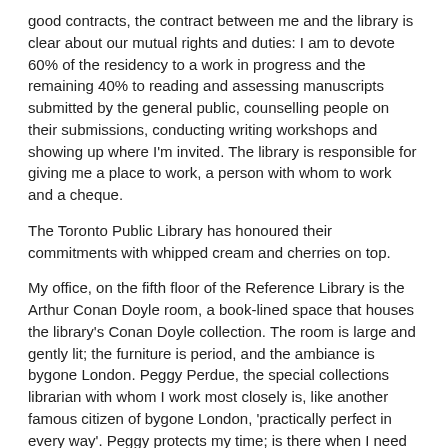good contracts, the contract between me and the library is clear about our mutual rights and duties: I am to devote 60% of the residency to a work in progress and the remaining 40% to reading and assessing manuscripts submitted by the general public, counselling people on their submissions, conducting writing workshops and showing up where I'm invited. The library is responsible for giving me a place to work, a person with whom to work and a cheque.
The Toronto Public Library has honoured their commitments with whipped cream and cherries on top.
My office, on the fifth floor of the Reference Library is the Arthur Conan Doyle room, a book-lined space that houses the library's Conan Doyle collection. The room is large and gently lit; the furniture is period, and the ambiance is bygone London. Peggy Perdue, the special collections librarian with whom I work most closely is, like another famous citizen of bygone London, 'practically perfect in every way'. Peggy protects my time; is there when I need her and trusts me to do my job. She's smart, funny and lovely—the ideal companion for a writer in residence.